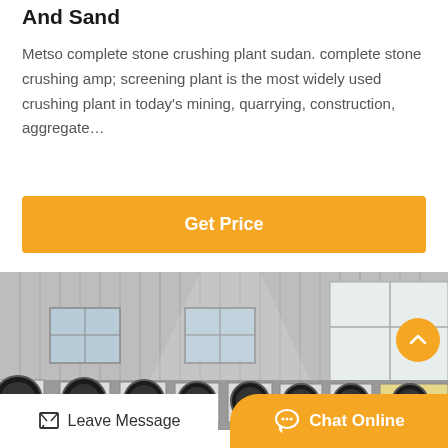And Sand
Metso complete stone crushing plant sudan. complete stone crushing amp; screening plant is the most widely used crushing plant in today's mining, quarrying, construction, aggregate…
[Figure (other): Orange 'Get Price' button]
[Figure (photo): Industrial warehouse interior with rows of jaw crusher machines with large red and black flywheels lined up on the factory floor, metal corrugated wall panels and windows in background]
Leave Message
Chat Online